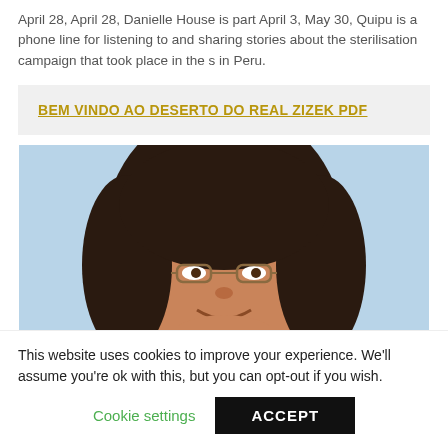April 28, April 28, Danielle House is part April 3, May 30, Quipu is a phone line for listening to and sharing stories about the sterilisation campaign that took place in the s in Peru.
BEM VINDO AO DESERTO DO REAL ZIZEK PDF
[Figure (photo): Close-up photo of a woman with dark curly hair and glasses, smiling, against a light blue background.]
This website uses cookies to improve your experience. We'll assume you're ok with this, but you can opt-out if you wish. Cookie settings ACCEPT